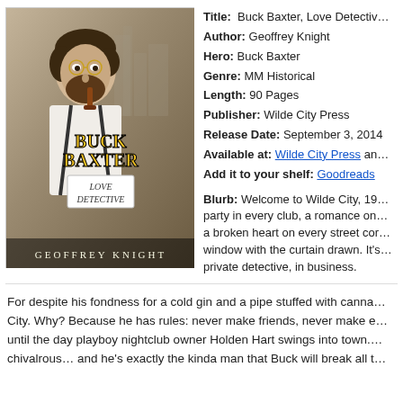[Figure (illustration): Book cover for 'Buck Baxter, Love Detective' by Geoffrey Knight. Shows a man in suspenders and white shirt holding a pipe, with art deco city background. Title in bold yellow letters, subtitle badge 'Love Detective'.]
Title: Buck Baxter, Love Detectiv…
Author: Geoffrey Knight
Hero: Buck Baxter
Genre: MM Historical
Length: 90 Pages
Publisher: Wilde City Press
Release Date: September 3, 2014
Available at: Wilde City Press and…
Add it to your shelf: Goodreads
Blurb: Welcome to Wilde City, 19… party in every club, a romance on… a broken heart on every street cor… window with the curtain drawn. It's… private detective, in business.
For despite his fondness for a cold gin and a pipe stuffed with canna… City. Why? Because he has rules: never make friends, never make e… until the day playboy nightclub owner Holden Hart swings into town.… chivalrous… and he's exactly the kinda man that Buck will break all t…